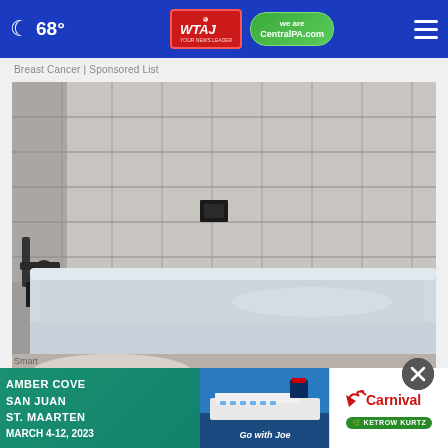68° WTAJ CentralPA.com
Breast Cancer | Sponsored List
[Figure (photo): A white bathtub against gray stone/tile wall with dark faucet hardware on the left side and a black square drain or fixture on the rear wall]
Thousands of Ashburn Seniors Are Getting Walk-in T
[Figure (photo): Carnival Cruise advertisement banner: AMBER COVE, SAN JUAN, ST. MAARTEN, Go with Joe, MARCH 4-12, 2023. Shows cruise ship image and Carnival logo with KETROW KURTZ branding]
Smart